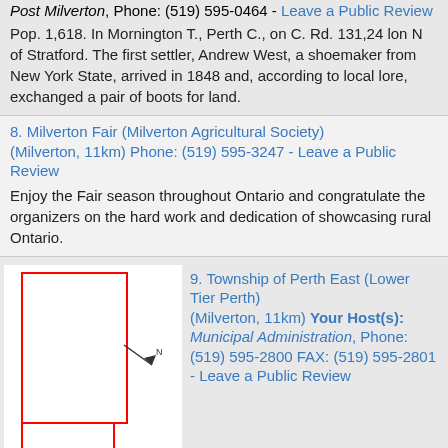Post Milverton, Phone: (519) 595-0464 - Leave a Public Review
Pop. 1,618. In Mornington T., Perth C., on C. Rd. 131,24 lon N of Stratford. The first settler, Andrew West, a shoemaker from New York State, arrived in 1848 and, according to local lore, exchanged a pair of boots for land.
8. Milverton Fair (Milverton Agricultural Society) (Milverton, 11km) Phone: (519) 595-3247 - Leave a Public Review
Enjoy the Fair season throughout Ontario and congratulate the organizers on the hard work and dedication of showcasing rural Ontario.
[Figure (map): Map outline of Township of Perth East with red border showing municipal boundaries]
9. Township of Perth East (Lower Tier Perth) (Milverton, 11km) Your Host(s): Municipal Administration, Phone: (519) 595-2800 FAX: (519) 595-2801 - Leave a Public Review
[Figure (map): Small map thumbnail of City of Stratford area]
10. City of Stratford (Single Tier Perth) (Stratford, 13km) Your Host(s): Canada Post Stratford, Phone: